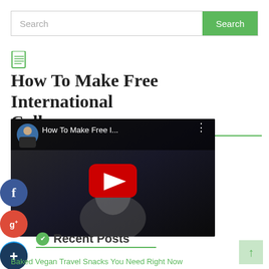Search
How To Make Free International Calls
[Figure (screenshot): YouTube video thumbnail for 'How To Make Free I...' with play button, avatar of a man, and blurred person in background]
Recent Posts
Baked Vegan Travel Snacks You Need Right Now